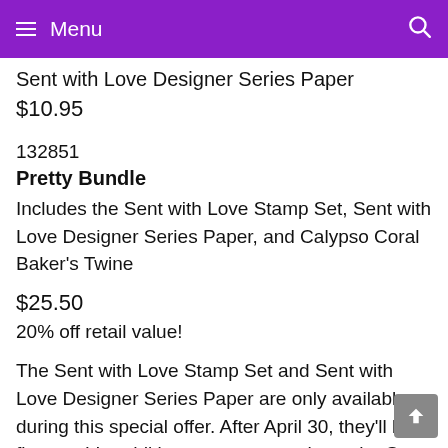Menu
Sent with Love Designer Series Paper
$10.95
132851
Pretty Bundle
Includes the Sent with Love Stamp Set, Sent with Love Designer Series Paper, and Calypso Coral Baker's Twine
$25.50
20% off retail value!
The Sent with Love Stamp Set and Sent with Love Designer Series Paper are only available during this special offer. After April 30, they'll both fly away! In addition, you may purchase the Sent with Love